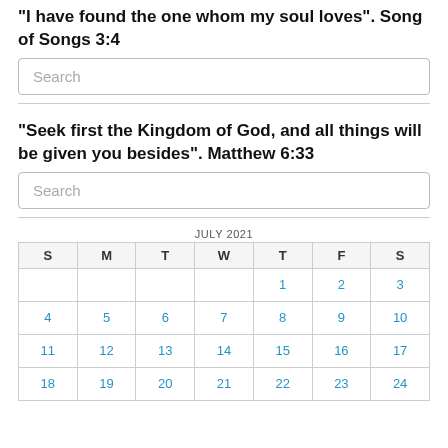“I have found the one whom my soul loves”. Song of Songs 3:4
Search
“Seek first the Kingdom of God, and all things will be given you besides”. Matthew 6:33
Search
| S | M | T | W | T | F | S |
| --- | --- | --- | --- | --- | --- | --- |
|  |  |  |  | 1 | 2 | 3 |
| 4 | 5 | 6 | 7 | 8 | 9 | 10 |
| 11 | 12 | 13 | 14 | 15 | 16 | 17 |
| 18 | 19 | 20 | 21 | 22 | 23 | 24 |